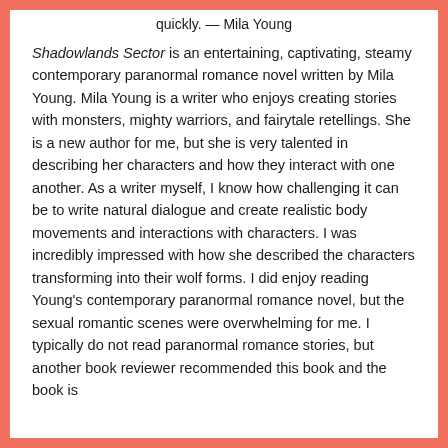quickly. — Mila Young
Shadowlands Sector is an entertaining, captivating, steamy contemporary paranormal romance novel written by Mila Young. Mila Young is a writer who enjoys creating stories with monsters, mighty warriors, and fairytale retellings. She is a new author for me, but she is very talented in describing her characters and how they interact with one another. As a writer myself, I know how challenging it can be to write natural dialogue and create realistic body movements and interactions with characters. I was incredibly impressed with how she described the characters transforming into their wolf forms. I did enjoy reading Young's contemporary paranormal romance novel, but the sexual romantic scenes were overwhelming for me. I typically do not read paranormal romance stories, but another book reviewer recommended this book and the book is